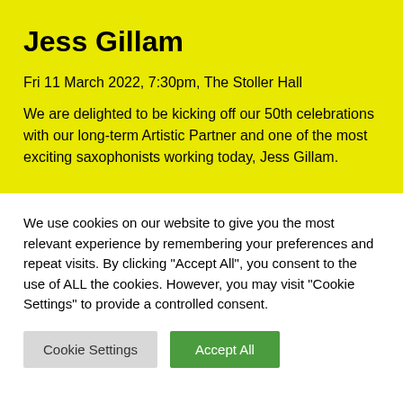Jess Gillam
Fri 11 March 2022, 7:30pm, The Stoller Hall
We are delighted to be kicking off our 50th celebrations with our long-term Artistic Partner and one of the most exciting saxophonists working today, Jess Gillam.
We use cookies on our website to give you the most relevant experience by remembering your preferences and repeat visits. By clicking "Accept All", you consent to the use of ALL the cookies. However, you may visit "Cookie Settings" to provide a controlled consent.
Cookie Settings | Accept All